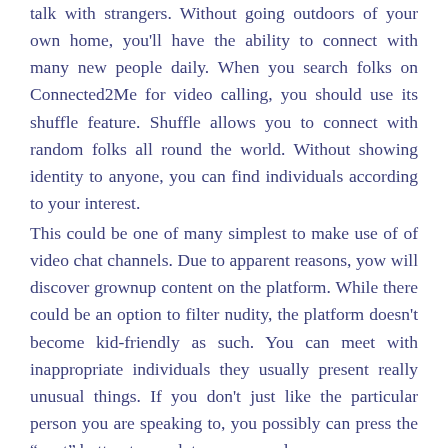talk with strangers. Without going outdoors of your own home, you'll have the ability to connect with many new people daily. When you search folks on Connected2Me for video calling, you should use its shuffle feature. Shuffle allows you to connect with random folks all round the world. Without showing identity to anyone, you can find individuals according to your interest.
This could be one of many simplest to make use of of video chat channels. Due to apparent reasons, yow will discover grownup content on the platform. While there could be an option to filter nudity, the platform doesn't become kid-friendly as such. You can meet with inappropriate individuals they usually present really unusual things. If you don't just like the particular person you are speaking to, you possibly can press the “next” button to speak to someone else.